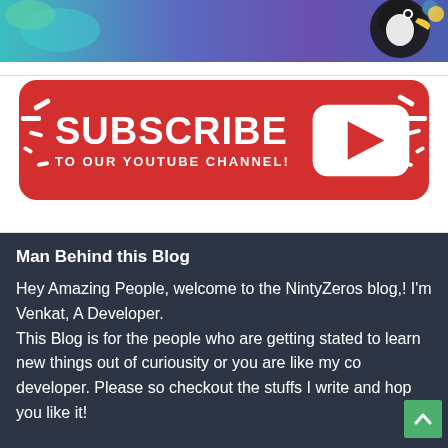[Figure (illustration): Colorful banner image with teal/blue/green gradient background and a cartoon bird (toucan) on the right side]
[Figure (infographic): Red rounded-rectangle Subscribe button with white text 'SUBSCRIBE TO OUR YOUTUBE CHANNEL!' and YouTube play button icon on the right, with decorative white dashes radiating outward]
Man Behind this Blog
Hey Amazing People, welcome to the NintyZeros blog,! I'm Venkat, A Developer.
This Blog is for the people who are getting stated to learn new things out of curiousity or you are like my co developer. Please so checkout the stuffs I write and hop you like it!